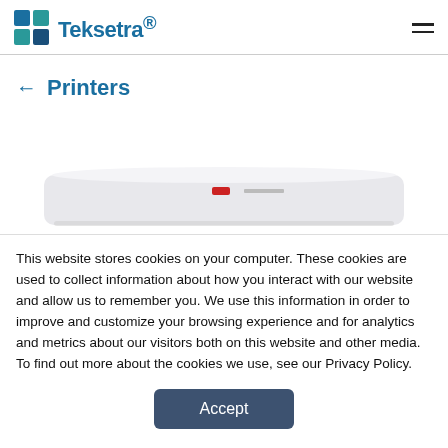Teksetra® [logo]
← Printers
[Figure (photo): Partial view of a white flat-bed printer/scanner device with a small red indicator light]
This website stores cookies on your computer. These cookies are used to collect information about how you interact with our website and allow us to remember you. We use this information in order to improve and customize your browsing experience and for analytics and metrics about our visitors both on this website and other media. To find out more about the cookies we use, see our Privacy Policy.
Accept